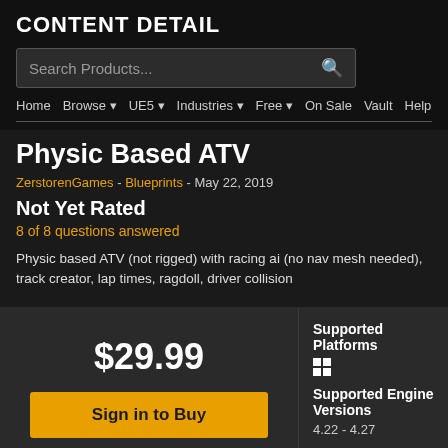CONTENT DETAIL
Search Products...
Home  Browse  UE5  Industries  Free  On Sale  Vault  Help
Physic Based ATV
ZerstorenGames - Blueprints - May 22, 2019
Not Yet Rated
8 of 8 questions answered
Physic based ATV (not rigged) with racing ai (no nav mesh needed), track creator, lap times, ragdoll, driver collision
$29.99
Sign in to Buy
Supported Platforms
Supported Engine Versions
4.22 - 4.27
Download Type
Complete Project